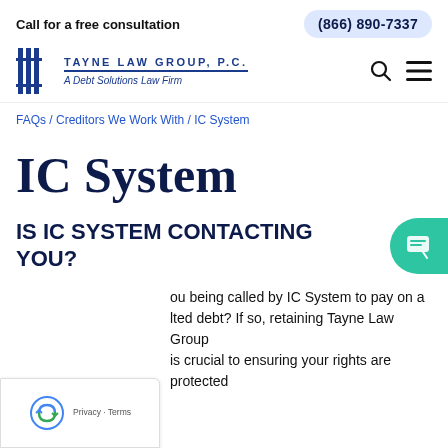Call for a free consultation   (866) 890-7337
[Figure (logo): Tayne Law Group, P.C. logo with column icon and text 'TAYNE LAW GROUP, P.C. A Debt Solutions Law Firm']
FAQs / Creditors We Work With / IC System
IC System
IS IC SYSTEM CONTACTING YOU?
ou being called by IC System to pay on a lted debt? If so, retaining Tayne Law Group is crucial to ensuring your rights are protected